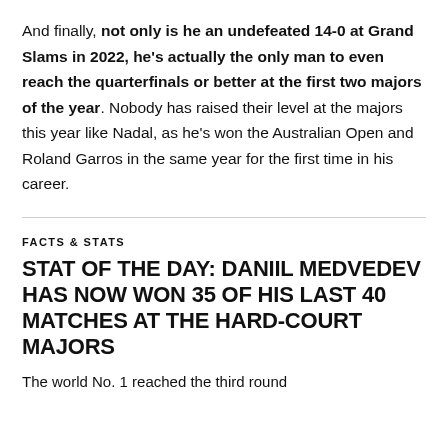And finally, not only is he an undefeated 14-0 at Grand Slams in 2022, he's actually the only man to even reach the quarterfinals or better at the first two majors of the year. Nobody has raised their level at the majors this year like Nadal, as he's won the Australian Open and Roland Garros in the same year for the first time in his career.
FACTS & STATS
STAT OF THE DAY: DANIIL MEDVEDEV HAS NOW WON 35 OF HIS LAST 40 MATCHES AT THE HARD-COURT MAJORS
The world No. 1 reached the third round